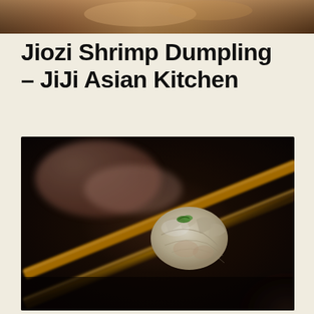[Figure (photo): Partial view of a food photo at top of page, cropped header image showing warm tones]
Jiozi Shrimp Dumpling – JiJi Asian Kitchen
[Figure (photo): Close-up photo of a shrimp dumpling (jiozi) held between chopsticks against a dark blurred background, with a small green garnish on top]